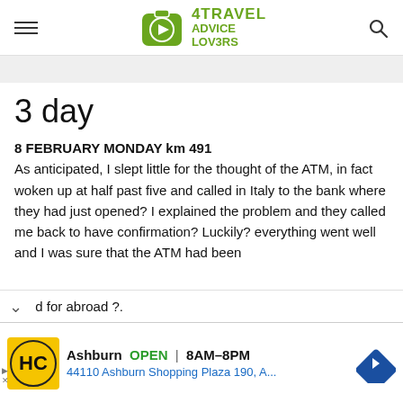4TRAVEL ADVICE LOVERS
3 day
8 FEBRUARY MONDAY km 491
As anticipated, I slept little for the thought of the ATM, in fact woken up at half past five and called in Italy to the bank where they had just opened? I explained the problem and they called me back to have confirmation? Luckily? everything went well and I was sure that the ATM had been [enabled] for abroad ?.
[Figure (other): Advertisement banner: HC logo, Ashburn OPEN 8AM-8PM, 44110 Ashburn Shopping Plaza 190, A..., navigation arrow icon]